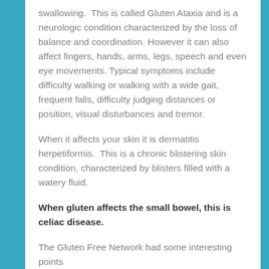swallowing.  This is called Gluten Ataxia and is a neurologic condition characterized by the loss of balance and coordination. However it can also affect fingers, hands, arms, legs, speech and even eye movements. Typical symptoms include difficulty walking or walking with a wide gait, frequent falls, difficulty judging distances or position, visual disturbances and tremor.
When it affects your skin it is dermatitis herpetiformis.  This is a chronic blistering skin condition, characterized by blisters filled with a watery fluid.
When gluten affects the small bowel, this is celiac disease.
The Gluten Free Network had some interesting points